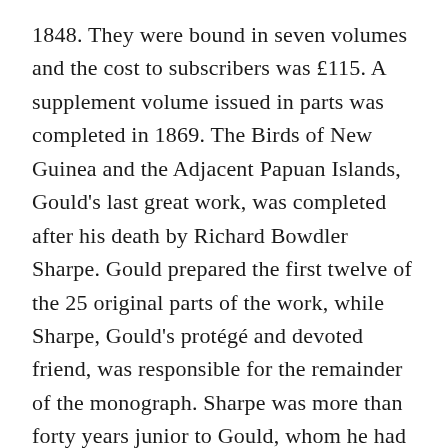1848. They were bound in seven volumes and the cost to subscribers was £115. A supplement volume issued in parts was completed in 1869. The Birds of New Guinea and the Adjacent Papuan Islands, Gould's last great work, was completed after his death by Richard Bowdler Sharpe. Gould prepared the first twelve of the 25 original parts of the work, while Sharpe, Gould's protégé and devoted friend, was responsible for the remainder of the monograph. Sharpe was more than forty years junior to Gould, whom he had met when he was only fifteen, and they both shared a passionate interest in ornithology. In his last years, although an invalid and often in pain, Gould was always pleased when Sharpe visited him to look at his collection of skins and discuss the latest bird discoveries. No other ornithologist can claim to have discovered and